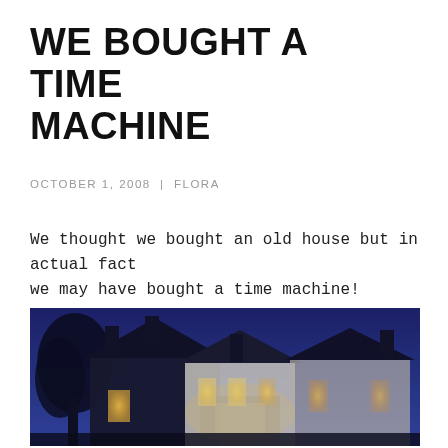WE BOUGHT A TIME MACHINE
OCTOBER 1, 2008  |  FLORA
We thought we bought an old house but in actual fact we may have bought a time machine!
[Figure (photo): Nighttime photograph of an old house with lights glowing from windows, silhouetted against a deep blue twilight sky, with a dark tree visible on the left side.]